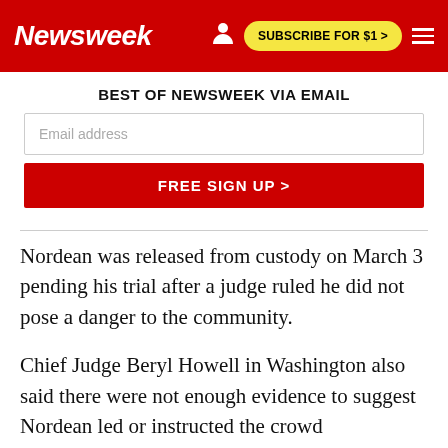Newsweek | SUBSCRIBE FOR $1 >
BEST OF NEWSWEEK VIA EMAIL
Email address
FREE SIGN UP >
Nordean was released from custody on March 3 pending his trial after a judge ruled he did not pose a danger to the community.
Chief Judge Beryl Howell in Washington also said there were not enough evidence to suggest Nordean led or instructed the crowd